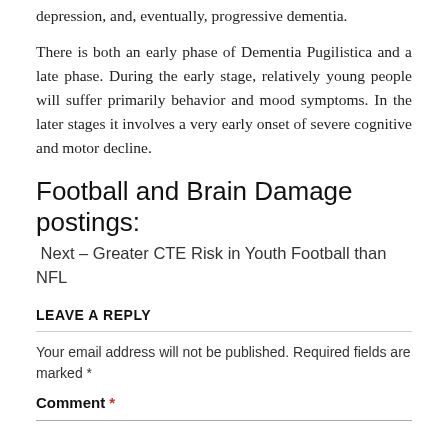depression, and, eventually, progressive dementia.
There is both an early phase of Dementia Pugilistica and a late phase. During the early stage, relatively young people will suffer primarily behavior and mood symptoms. In the later stages it involves a very early onset of severe cognitive and motor decline.
Football and Brain Damage postings:
Next – Greater CTE Risk in Youth Football than NFL
LEAVE A REPLY
Your email address will not be published. Required fields are marked *
Comment *